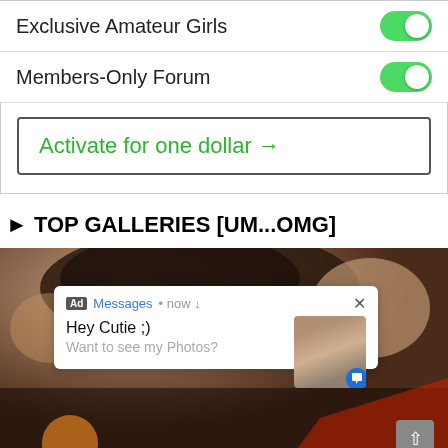Exclusive Amateur Girls [toggle on]
Members-Only Forum [toggle on]
Activate for one dollar →
► TOP GALLERIES [UM...OMG]
[Figure (screenshot): Screenshot of a webpage showing an adult content ad with a fake chat popup overlay. The popup shows 'Ad Messages • now ↓', 'Hey Cutie ;)' and 'Want to see my Photos?' with a thumbnail image and close button. Background shows a blurred photo.]